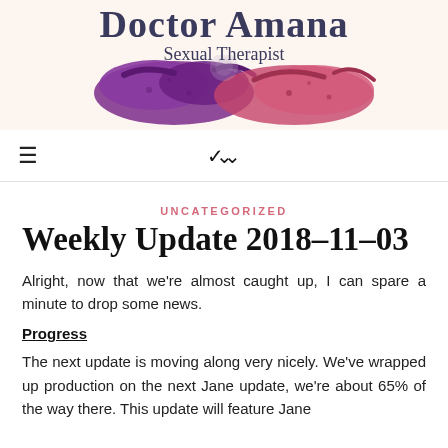[Figure (illustration): Website header for 'Doctor Amana - Sexual Therapist' with decorative purple/pink lingerie image on a pale pink background]
≡   ∨
UNCATEGORIZED
Weekly Update 2018-11-03
Alright, now that we're almost caught up, I can spare a minute to drop some news.
Progress
The next update is moving along very nicely. We've wrapped up production on the next Jane update, we're about 65% of the way there. This update will feature Jane